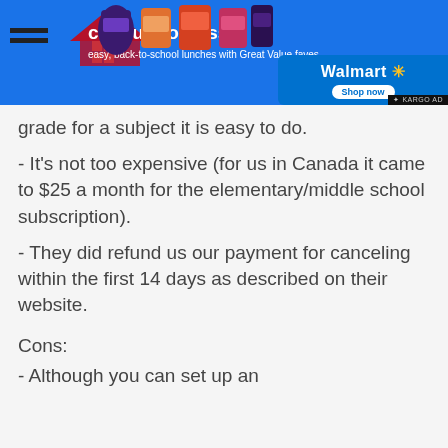[Figure (screenshot): Walmart advertisement banner with blue background, product images (jars/bottles), Walmart logo with spark, Shop now button, and KARGO AD label. Partially visible homeschool website logo and hamburger menu at top left.]
grade for a subject it is easy to do.
- It's not too expensive (for us in Canada it came to $25 a month for the elementary/middle school subscription).
- They did refund us our payment for canceling within the first 14 days as described on their website.
Cons:
- Although you can set up an